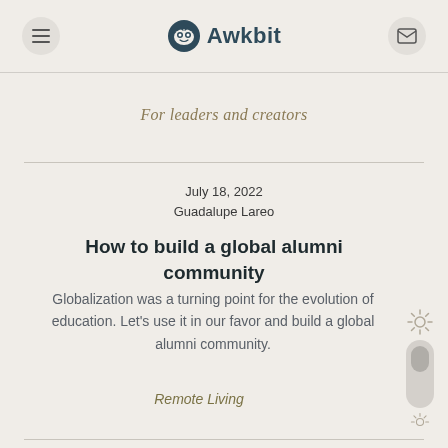Awkbit — For leaders and creators
For leaders and creators
July 18, 2022
Guadalupe Lareo
How to build a global alumni community
Globalization was a turning point for the evolution of education. Let's use it in our favor and build a global alumni community.
Remote Living